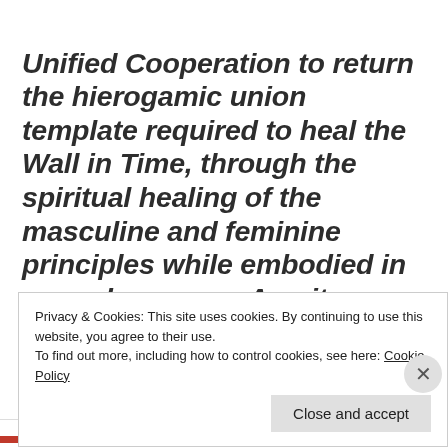Unified Cooperation to return the hierogamic union template required to heal the Wall in Time, through the spiritual healing of the masculine and feminine principles while embodied in an androgynous Azurite-Oraphim Form. Therefore the Aquaelle genetic lines came to the earth through the Sirius B portal
Privacy & Cookies: This site uses cookies. By continuing to use this website, you agree to their use.
To find out more, including how to control cookies, see here: Cookie Policy
Close and accept